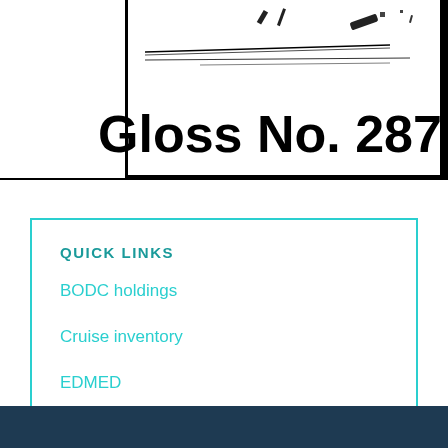[Figure (other): Partial image of a ship or vessel at sea with a crossed-out line overlay, cropped at top. Below shows a bordered box with the text 'Gloss No. 287' in large bold font.]
QUICK LINKS
BODC holdings
Cruise inventory
EDMED